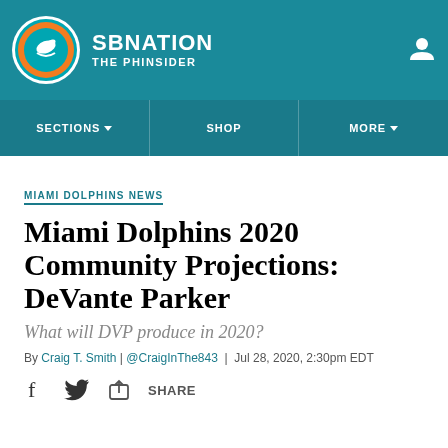SBNATION THE PHINSIDER
MIAMI DOLPHINS NEWS
Miami Dolphins 2020 Community Projections: DeVante Parker
What will DVP produce in 2020?
By Craig T. Smith | @CraigInThe843 | Jul 28, 2020, 2:30pm EDT
SHARE